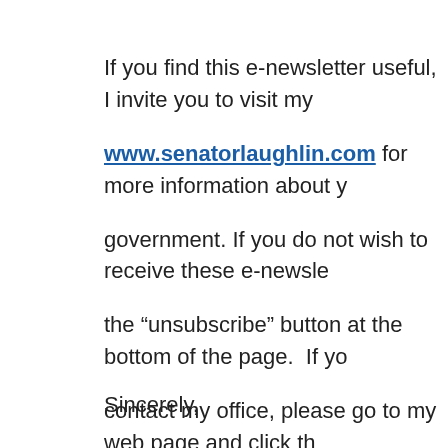If you find this e-newsletter useful, I invite you to visit my www.senatorlaughlin.com for more information about your government. If you do not wish to receive these e-newsletters, the "unsubscribe" button at the bottom of the page.  If you contact my office, please go to my web page and click the button.  Please do not "reply" directly to this e-mail.
Sincerely,
Dan Laughlin
Senate Appropriations Committee Budget Hearings: Corrections, DCED
I joined my colleagues on the Senate Appropriations Committee to continue our review of the Governor's proposed Fiscal Year budget on Monday with hearings with the Department of Corrections/Board of Probation & Parole and the Department